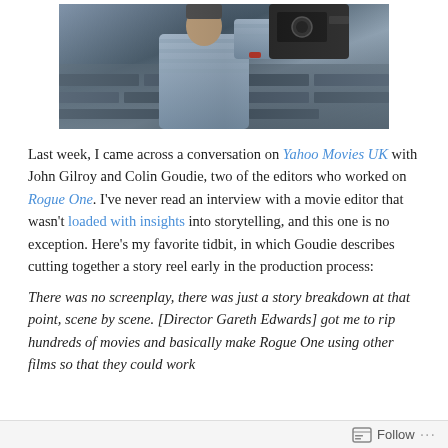[Figure (photo): A person holding a camera or filming equipment outdoors, with a stone wall visible in the background.]
Last week, I came across a conversation on Yahoo Movies UK with John Gilroy and Colin Goudie, two of the editors who worked on Rogue One. I've never read an interview with a movie editor that wasn't loaded with insights into storytelling, and this one is no exception. Here's my favorite tidbit, in which Goudie describes cutting together a story reel early in the production process:
There was no screenplay, there was just a story breakdown at that point, scene by scene. [Director Gareth Edwards] got me to rip hundreds of movies and basically make Rogue One using other films so that they could work
Follow